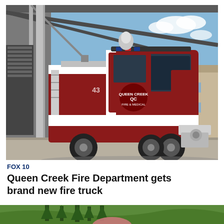[Figure (photo): Queen Creek Fire Department fire truck (red and white) pulling out of a modern fire station bay, blue sky background with a building visible to the right]
FOX 10
Queen Creek Fire Department gets brand new fire truck
[Figure (photo): Aerial or wide-angle view of a green landscaped area with tall trees and rolling hills, partially visible at bottom of page]